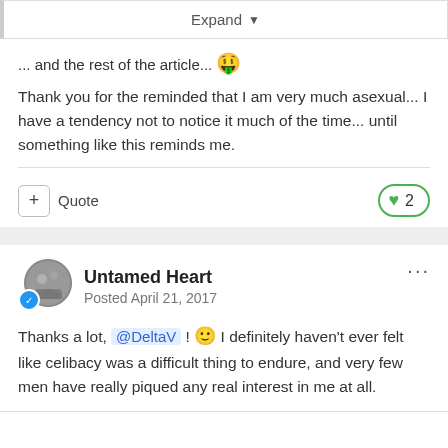Expand ▾
... and the rest of the article... 🤑
Thank you for the reminded that I am very much asexual... I have a tendency not to notice it much of the time... until something like this reminds me.
+ Quote
❤ 2
Untamed Heart
Posted April 21, 2017
Thanks a lot, @DeltaV ! 🙂 I definitely haven't ever felt like celibacy was a difficult thing to endure, and very few men have really piqued any real interest in me at all.